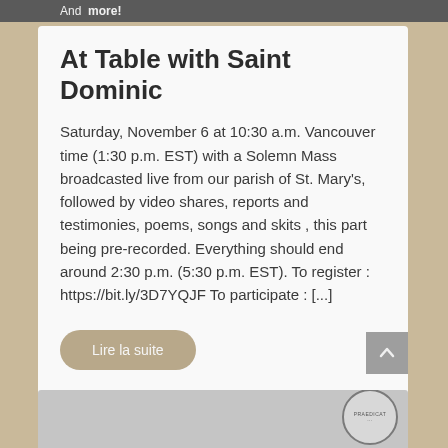And more!
At Table with Saint Dominic
Saturday, November 6 at 10:30 a.m. Vancouver time (1:30 p.m. EST) with a Solemn Mass broadcasted live from our parish of St. Mary's, followed by video shares, reports and testimonies, poems, songs and skits , this part being pre-recorded. Everything should end around 2:30 p.m. (5:30 p.m. EST). To register : https://bit.ly/3D7YQJF To participate : [...]
Lire la suite
[Figure (photo): Partial view of a grey-toned document or image with a circular stamp/seal visible at the bottom right]